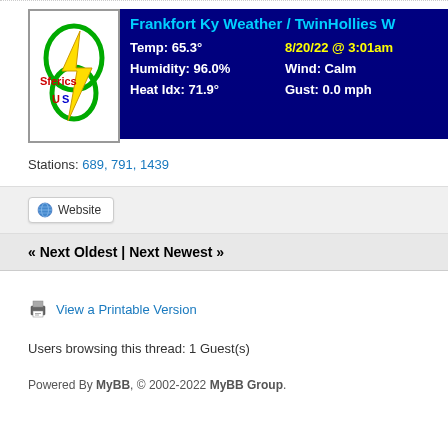[Figure (screenshot): Weather banner for Frankfort Ky Weather / TwinHollies W showing Temp: 65.3°, Humidity: 96.0%, Heat Idx: 71.9°, date 8/20/22 @ 3:01am, Wind: Calm, Gust: 0.0 mph, with Sferics US logo on left]
Stations: 689, 791, 1439
Website
« Next Oldest | Next Newest »
View a Printable Version
Users browsing this thread: 1 Guest(s)
Powered By MyBB, © 2002-2022 MyBB Group.